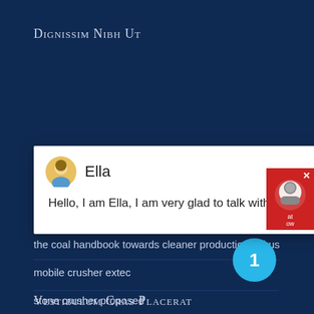Dignissim Nibh Ut
rockcrushing plant bahamas
200 tph mplete crusher machine with primary
[Figure (screenshot): Chat popup widget with avatar of Ella, showing message: Hello, I am Ella, I am very glad to talk with you!]
the coal handbook towards cleaner production bokus
mobile crusher extec
stone crusher proposed
Vestibulum Cras Placerat